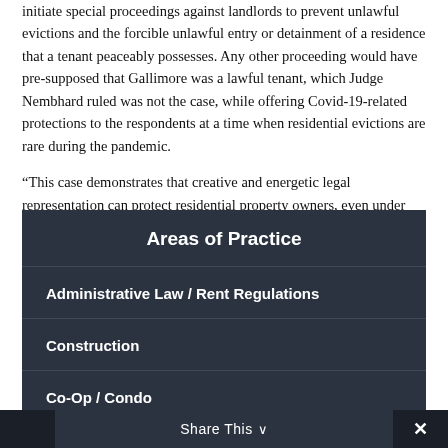initiate special proceedings against landlords to prevent unlawful evictions and the forcible unlawful entry or detainment of a residence that a tenant peaceably possesses. Any other proceeding would have pre-supposed that Gallimore was a lawful tenant, which Judge Nembhard ruled was not the case, while offering Covid-19-related protections to the respondents at a time when residential evictions are rare during the pandemic.
“This case demonstrates that creative and energetic legal representation can protect residential property owners, even under the pandemic eviction moratoria,” Carr said.
Areas of Practice
Administrative Law / Rent Regulations
Construction
Co-Op / Condo
Share This ∨ ×